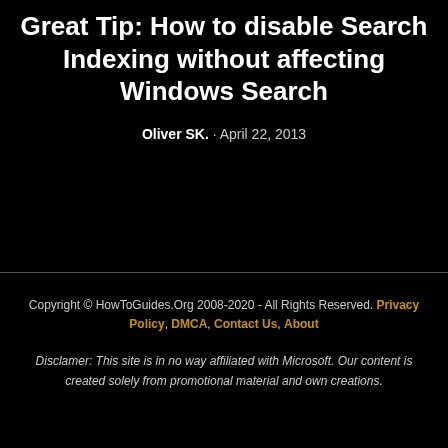Great Tip: How to disable Search Indexing without affecting Windows Search
Oliver SK. · April 22, 2013
Copyright © HowToGuides.Org 2008-2020 - All Rights Reserved. Privacy Policy, DMCA, Contact Us, About
Disclamer: This site is in no way affiliated with Microsoft. Our content is created solely from promotional material and own creations.